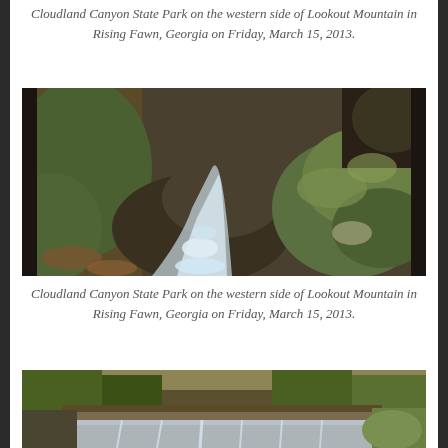Cloudland Canyon State Park on the western side of Lookout Mountain in Rising Fawn, Georgia on Friday, March 15, 2013.
[Figure (photo): A stream flowing over and between moss-covered rocks in a canyon. The rocks are large and green with moss, and the water appears silky from a long exposure. Fallen leaves and forest surroundings are visible.]
Cloudland Canyon State Park on the western side of Lookout Mountain in Rising Fawn, Georgia on Friday, March 15, 2013.
[Figure (photo): A small waterfall cascading over a rocky ledge in a forested setting. Green foliage and bare branches are visible around the falls.]